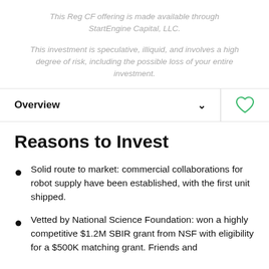This Reg CF offering is made available through StartEngine Capital, LLC.
This investment is speculative, illiquid, and involves a high degree of risk, including the possible loss of your entire investment.
Overview
Reasons to Invest
Solid route to market: commercial collaborations for robot supply have been established, with the first unit shipped.
Vetted by National Science Foundation: won a highly competitive $1.2M SBIR grant from NSF with eligibility for a $500K matching grant. Friends and